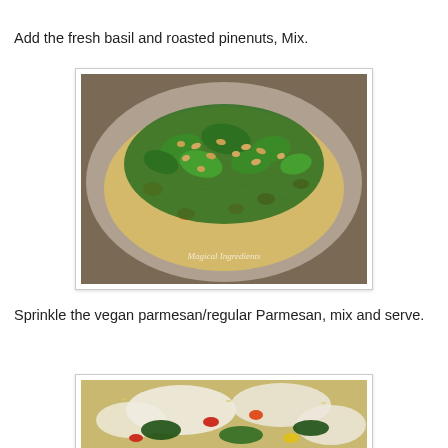Add the fresh basil and roasted pinenuts, Mix.
[Figure (photo): A stainless steel pan filled with rice, colorful vegetables (red and orange peppers), and topped with chopped fresh green basil leaves and roasted pine nuts. Watermark reads 'Magical Ingredients'.]
Sprinkle the vegan parmesan/regular Parmesan, mix and serve.
[Figure (photo): A stainless steel pan with rice and mixed vegetables including spinach, red and yellow peppers, topped with white parmesan cheese, partially visible.]